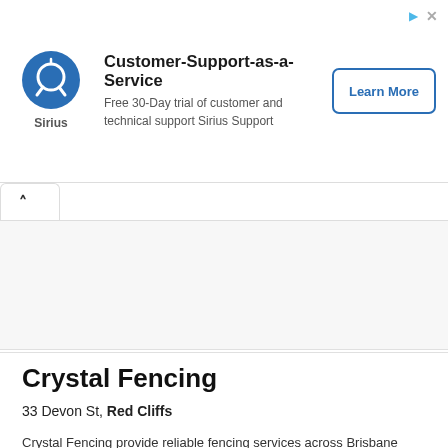[Figure (logo): Sirius company logo with blue circular icon and 'Sirius' text below]
Customer-Support-as-a-Service
Free 30-Day trial of customer and technical support Sirius Support
Learn More
^
Crystal Fencing
33 Devon St, Red Cliffs
Crystal Fencing provide reliable fencing services across Brisbane including pool fencing, balustrades, glass repairs and glass gates. Contact them today for an instant quote.
✓ Verified   +8  Years with us
[Figure (infographic): Contact icons: phone, email, website]